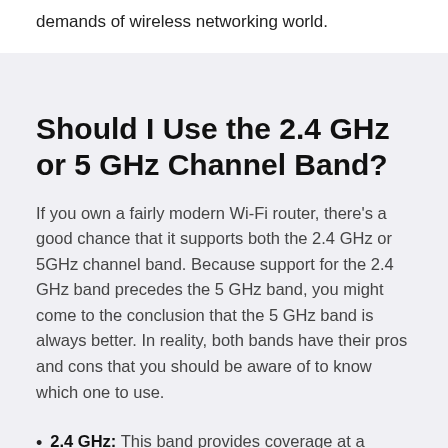demands of wireless networking world.
Should I Use the 2.4 GHz or 5 GHz Channel Band?
If you own a fairly modern Wi-Fi router, there's a good chance that it supports both the 2.4 GHz or 5GHz channel band. Because support for the 2.4 GHz band precedes the 5 GHz band, you might come to the conclusion that the 5 GHz band is always better. In reality, both bands have their pros and cons that you should be aware of to know which one to use.
2.4 GHz: This band provides coverage at a longer